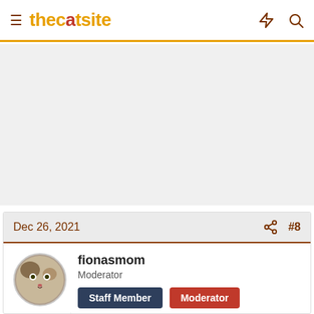thecatsite
[Figure (other): Advertisement / blank ad area]
Dec 26, 2021   #8
[Figure (photo): Avatar photo of a calico cat]
fionasmom
Moderator
Staff Member  Moderator
Please keep us posted and remember you can always come back here just to talk. i do agree about the tiered